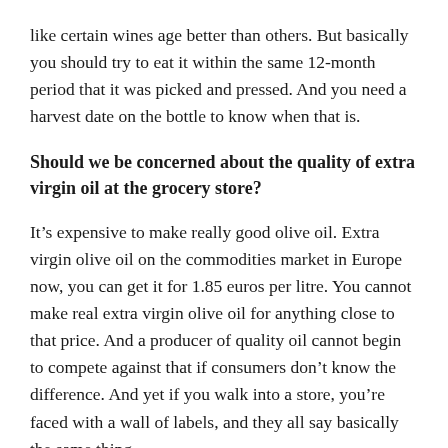like certain wines age better than others. But basically you should try to eat it within the same 12-month period that it was picked and pressed. And you need a harvest date on the bottle to know when that is.
Should we be concerned about the quality of extra virgin oil at the grocery store?
It’s expensive to make really good olive oil. Extra virgin olive oil on the commodities market in Europe now, you can get it for 1.85 euros per litre. You cannot make real extra virgin olive oil for anything close to that price. And a producer of quality oil cannot begin to compete against that if consumers don’t know the difference. And yet if you walk into a store, you’re faced with a wall of labels, and they all say basically the same thing.